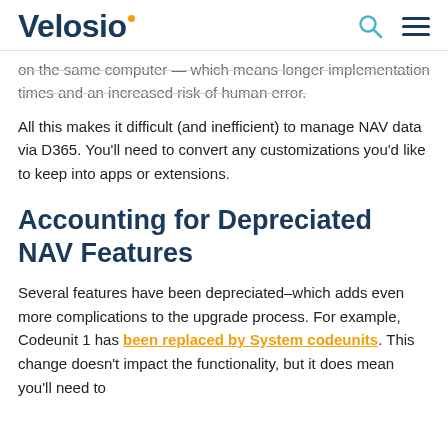Velosio
on the same computer — which means longer implementation times and an increased risk of human error.
All this makes it difficult (and inefficient) to manage NAV data via D365. You'll need to convert any customizations you'd like to keep into apps or extensions.
Accounting for Depreciated NAV Features
Several features have been depreciated–which adds even more complications to the upgrade process. For example, Codeunit 1 has been replaced by System codeunits. This change doesn't impact the functionality, but it does mean you'll need to